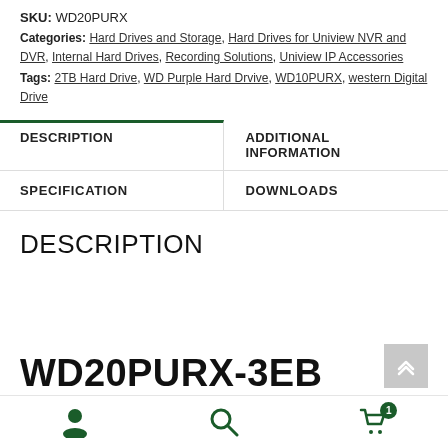SKU: WD20PURX
Categories: Hard Drives and Storage, Hard Drives for Uniview NVR and DVR, Internal Hard Drives, Recording Solutions, Uniview IP Accessories
Tags: 2TB Hard Drive, WD Purple Hard Drvive, WD10PURX, western Digital Drive
DESCRIPTION
ADDITIONAL INFORMATION
SPECIFICATION
DOWNLOADS
DESCRIPTION